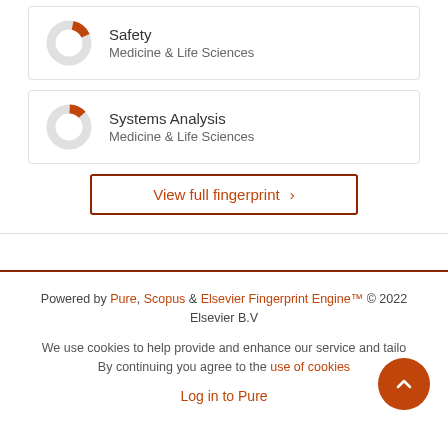[Figure (donut-chart): Small donut chart with orange segment, labeled Safety, Medicine & Life Sciences]
Safety
Medicine & Life Sciences
[Figure (donut-chart): Small donut chart with orange segment, labeled Systems Analysis, Medicine & Life Sciences]
Systems Analysis
Medicine & Life Sciences
View full fingerprint >
Powered by Pure, Scopus & Elsevier Fingerprint Engine™ © 2022 Elsevier B.V
We use cookies to help provide and enhance our service and tailor. By continuing you agree to the use of cookies
Log in to Pure